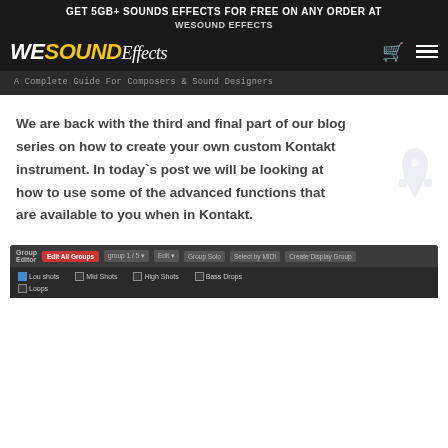GET 5GB+ SOUNDS EFFECTS FOR FREE ON ANY ORDER AT WESOUND EFFECTS
[Figure (logo): WeSoundEffects logo with shopping cart and hamburger menu icons]
A Complete Guide For Composers & Sound Designers
We are back with the third and final part of our blog series on how to create your own custom Kontakt instrument. In today`s post we will be looking at how to use some of the advanced functions that are available to you when in Kontakt.
[Figure (screenshot): Screenshot of Kontakt Group Editor interface showing group 1/5, Edit All Groups button, and checkboxes for Lou Shots, Loops, Mid Shots, High Shots, Bass Drops]